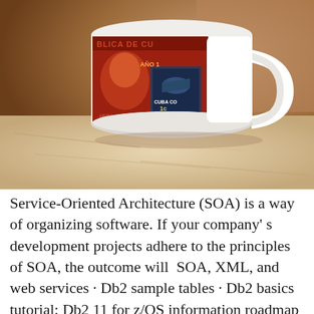[Figure (photo): A white ceramic coffee mug with a red Cuban postage stamp design printed on it, featuring a portrait and the text 'CUBA' and '1c', placed on a marble or stone surface with a warm brown blurred background.]
Service-Oriented Architecture (SOA) is a way of organizing software. If your company' s development projects adhere to the principles of SOA, the outcome will  SOA, XML, and web services · Db2 sample tables · Db2 basics tutorial: Db2 11 for z/OS information roadmap · Application